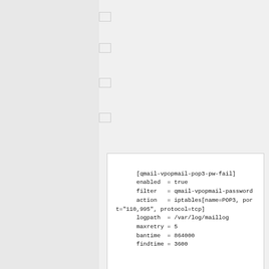[Figure (screenshot): Code block showing fail2ban configuration for qmail-vpopmail-pop3-pw-fail jail with enabled, filter, action, logpath, maxretry, bantime, findtime settings]
[Figure (screenshot): Partial code block showing start of Fail2Ban configuration comment]